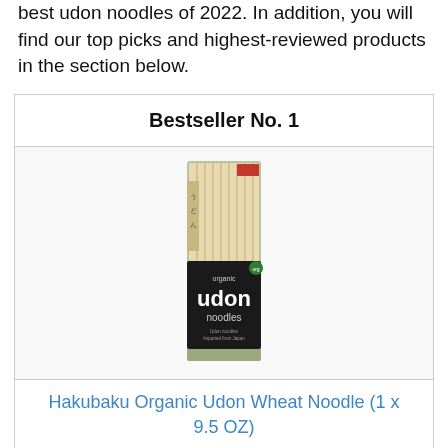best udon noodles of 2022. In addition, you will find our top picks and highest-reviewed products in the section below.
| Bestseller No. 1 |
| [Product image: Hakubaku organic udon noodles package] |
| Hakubaku Organic Udon Wheat Noodle (1 x 9.5 OZ) |
| Rating: | No ratings yet |
| [Buy button] |